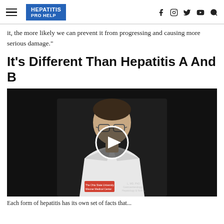HEPATITIS PRO HELP
it, the more likely we can prevent it from progressing and causing more serious damage."
It's Different Than Hepatitis A And B
[Figure (photo): Video thumbnail showing a female doctor in a white lab coat with glasses, speaking; a circular play button overlay is centered on the image. Name badge partially visible reading: Gastroenterology, Hepatology & Nutrition, The Ohio State University Wexner Medical Center.]
Each form of hepatitis has its own set of facts that...